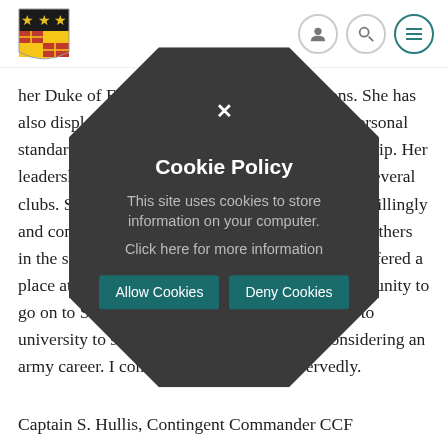[Figure (logo): University shield logo with black and yellow background featuring birds and a grid pattern]
her Duke of Edinburgh Gold Award expeditions. She has also displayed great strength of character, high personal standards, great determination, and natural leadership. Her leadership skills are further evident when she ran several clubs. She is a scholar who carried out her duties willingly and competently. She is definitely a role model to others in the school. Such was her enthusiasm, she was offered a place at the Royal School of Music with the opportunity to go on to Sandhurst, but has instead elected to go to university to study film-making, while still considering an army career. I commend her to you unreservedly.
Captain S. Hullis, Contingent Commander CCF
Cookie Policy
This site uses cookies to store information on your computer.
Click here for more information
Allow Cookies
Deny Cookies